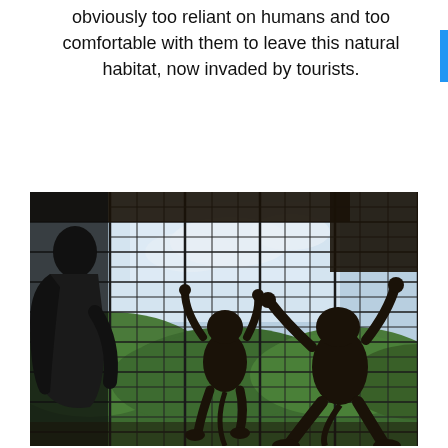obviously too reliant on humans and too comfortable with them to leave this natural habitat, now invaded by tourists.
[Figure (photo): A person standing to the left in silhouette observes two young monkeys clinging to a wire mesh fence/cage. The monkeys are in silhouette against a bright sky with green forested hills in the background. The scene is taken from inside a large cage-like structure with wooden beams visible.]